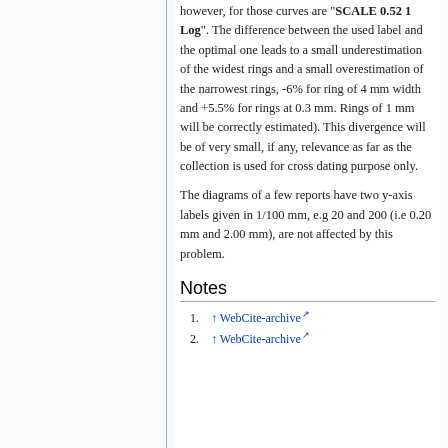however, for those curves are "SCALE 0.52 1 Log". The difference between the used label and the optimal one leads to a small underestimation of the widest rings and a small overestimation of the narrowest rings, -6% for ring of 4 mm width and +5.5% for rings at 0.3 mm. Rings of 1 mm will be correctly estimated). This divergence will be of very small, if any, relevance as far as the collection is used for cross dating purpose only.
The diagrams of a few reports have two y-axis labels given in 1/100 mm, e.g 20 and 200 (i.e 0.20 mm and 2.00 mm), are not affected by this problem.
Notes
↑ WebCite-archive
↑ WebCite-archive